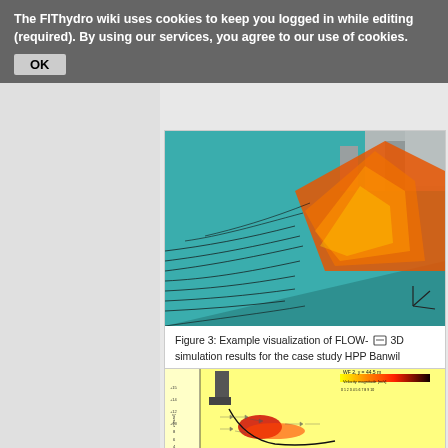The FIThydro wiki uses cookies to keep you logged in while editing (required). By using our services, you agree to our use of cookies. OK
[Figure (illustration): 3D CFD visualization of FLOW-3D simulation results showing flow velocities and streamlines as colored surface and black streamlines over a spillway/dam structure for HPP Banwil. The flow surface is colored orange-red-yellow indicating velocity magnitude, set against a teal/cyan 3D model of the hydraulic structure.]
Figure 3: Example visualization of FLOW-3D simulation results for the case study HPP Banwil showing flow velocities and streamlines at a potential location for fish guidance structures (source: VAW)
[Figure (engineering-diagram): 2D cross-section plot labeled 'WF 2, y = 44.5 m' showing velocity magnitude [m/s] with a color scale from 0 to 10 (yellow to red to black). Shows a hydraulic structure cross-section with velocity vector field displayed as arrows, with high-velocity regions shown in red/dark near the structure base.]